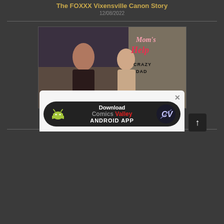The FOXXX Vixensville Canon Story
12/08/2022
[Figure (illustration): 3D rendered illustration showing two figures with text overlay reading Mom's Help and Crazy Dad logo with website crazydad3d.com]
Crazy Dad 3D Mom’s Help
01/05/2020
[Figure (screenshot): Popup banner for downloading Comics Valley Android App, showing Android robot logo on left, Download Comics Valley ANDROID APP text in center, and CV logo on right, with close X button at top right]